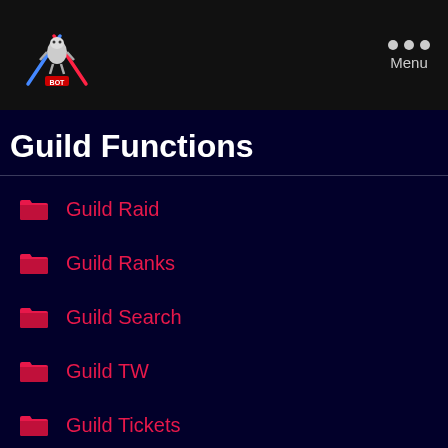[Figure (logo): Bot logo with crossed lightsabers (blue and red) and a character figure, with red 'BOT' text below]
Menu
Guild Functions
Guild Raid
Guild Ranks
Guild Search
Guild TW
Guild Tickets
Guild Violations